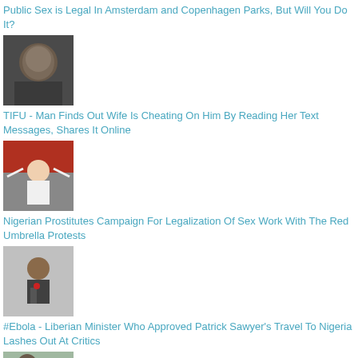Public Sex is Legal In Amsterdam and Copenhagen Parks, But Will You Do It?
[Figure (photo): Close-up photo of a man's face with a serious expression]
TIFU - Man Finds Out Wife Is Cheating On Him By Reading Her Text Messages, Shares It Online
[Figure (photo): Person with arms raised in front of protest banners]
Nigerian Prostitutes Campaign For Legalization Of Sex Work With The Red Umbrella Protests
[Figure (photo): Man in suit speaking at a podium with a red flower on lapel]
#Ebola - Liberian Minister Who Approved Patrick Sawyer's Travel To Nigeria Lashes Out At Critics
[Figure (photo): People outdoors, partial view at bottom of page]